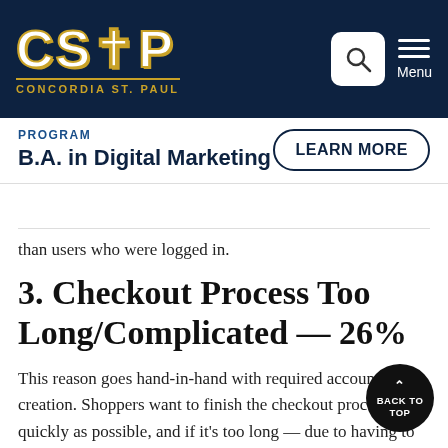[Figure (logo): CSP Concordia St. Paul logo — white bold letters with gold border on dark navy background]
PROGRAM
B.A. in Digital Marketing
LEARN MORE
than users who were logged in.
3. Checkout Process Too Long/Complicated — 26%
This reason goes hand-in-hand with required account creation. Shoppers want to finish the checkout process as quickly as possible, and if it's too long — due to having to create an account or otherwise — then they may leave.